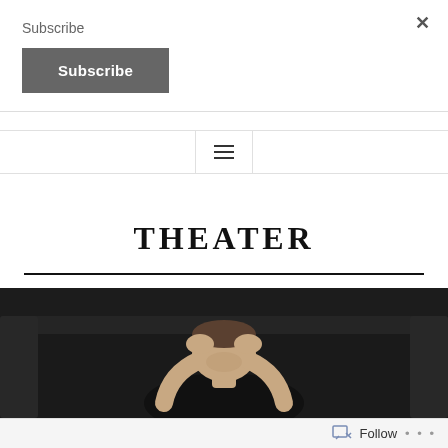Subscribe
Subscribe
×
[Figure (screenshot): Hamburger menu icon (three horizontal lines) centered in a nav bar with vertical borders on each side]
THEATER
[Figure (photo): A person with hands on head, leaning forward, sitting in front of a dark leather couch, wearing a black shirt, photographed from above in a dimly lit scene]
Follow  ···